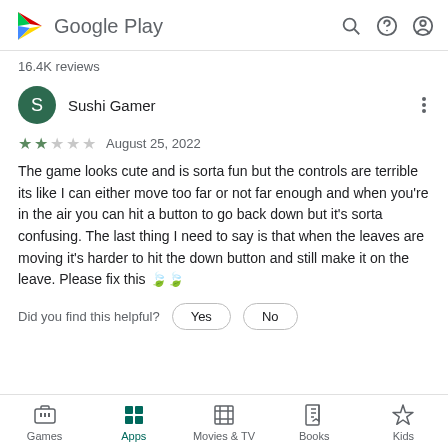Google Play
16.4K reviews
Sushi Gamer
★★☆☆☆ August 25, 2022
The game looks cute and is sorta fun but the controls are terrible its like I can either move too far or not far enough and when you're in the air you can hit a button to go back down but it's sorta confusing. The last thing I need to say is that when the leaves are moving it's harder to hit the down button and still make it on the leave. Please fix this 🍃🍃
Did you find this helpful? Yes No
Games  Apps  Movies & TV  Books  Kids